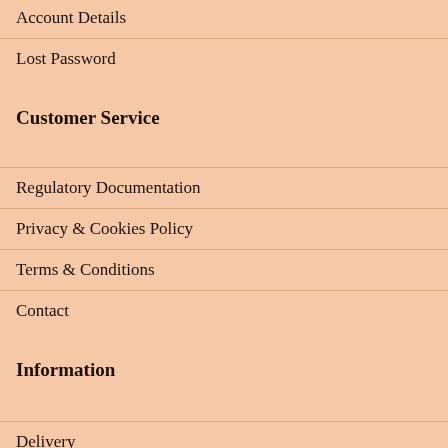Account Details
Lost Password
Customer Service
Regulatory Documentation
Privacy & Cookies Policy
Terms & Conditions
Contact
Information
Delivery